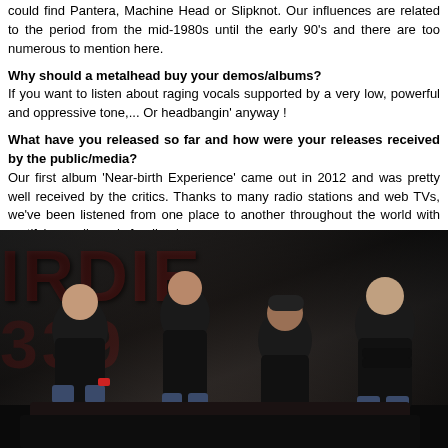could find Pantera, Machine Head or Slipknot. Our influences are related to the period from the mid-1980s until the early 90's and there are too numerous to mention here.
Why should a metalhead buy your demos/albums?
If you want to listen about raging vocals supported by a very low, powerful and oppressive tone,... Or headbangin' anyway !
What have you released so far and how were your releases received by the public/media?
Our first album 'Near-birth Experience' came out in 2012 and was pretty well received by the critics. Thanks to many radio stations and web TVs, we've been listened from one place to another throughout the world with gratifying audience's feedback.
Do you play live as well? How's your live activity so far?
Playing live is clearly important for us. We unfortunatly have no venues for the end of this year so we'll have to wait for 2016.
[Figure (photo): Band photo of four members dressed in black, seated/posed in front of a dark background with large red graffiti-style lettering]